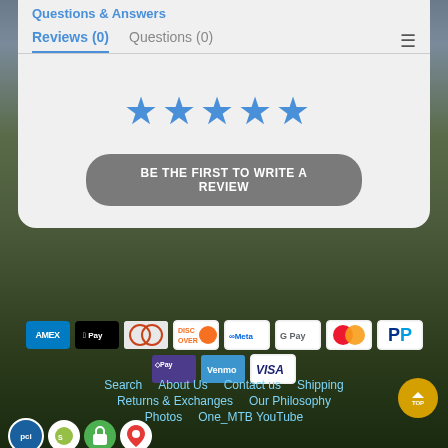Questions & Answers
Reviews (0)    Questions (0)
[Figure (other): Five blue star rating icons]
BE THE FIRST TO WRITE A REVIEW
[Figure (screenshot): Website footer with payment icons (AMEX, Apple Pay, Diners, Discover, Meta, Google Pay, Mastercard, PayPal, Shop Pay, Venmo, Visa), navigation links (Search, About Us, Contact us, Shipping, Returns & Exchanges, Our Philosophy, Photos, One_MTB YouTube), and trust badges (PCI, Shopify, lock, map pin)]
Search   About Us   Contact us   Shipping   Returns & Exchanges   Our Philosophy   Photos   One_MTB YouTube